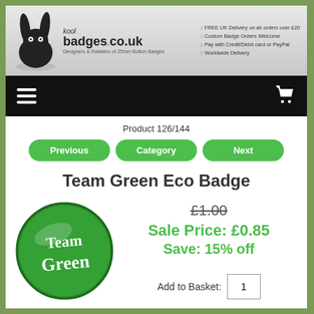[Figure (logo): Kool Badges .co.uk logo with rabbit mascot and tagline: Designers & Retailers of 25mm Button Badges]
:: FREE UK Delivery on all orders over £20
:: Custom Badge Orders Welcome
:: Pay with Credit/Debit card or PayPal
:: Worldwide Delivery
[Figure (other): Navigation bar with hamburger menu icon and shopping cart icon]
Product 126/144
Previous  Category  Next
Team Green Eco Badge
£1.00 (strikethrough)
Sale Price: £0.85
Save: 15% off
[Figure (photo): Green circular button badge with 'Team Green' text in white script lettering]
Add to Basket: 1